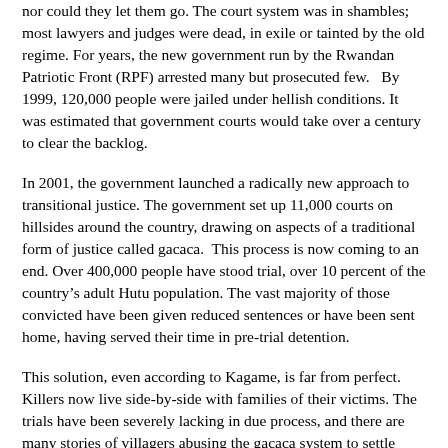nor could they let them go. The court system was in shambles; most lawyers and judges were dead, in exile or tainted by the old regime. For years, the new government run by the Rwandan Patriotic Front (RPF) arrested many but prosecuted few.   By 1999, 120,000 people were jailed under hellish conditions. It was estimated that government courts would take over a century to clear the backlog.
In 2001, the government launched a radically new approach to transitional justice. The government set up 11,000 courts on hillsides around the country, drawing on aspects of a traditional form of justice called gacaca.  This process is now coming to an end. Over 400,000 people have stood trial, over 10 percent of the country's adult Hutu population. The vast majority of those convicted have been given reduced sentences or have been sent home, having served their time in pre-trial detention.
This solution, even according to Kagame, is far from perfect. Killers now live side-by-side with families of their victims. The trials have been severely lacking in due process, and there are many stories of villagers abusing the gacaca system to settle scores. This is the post-genocide landscape in